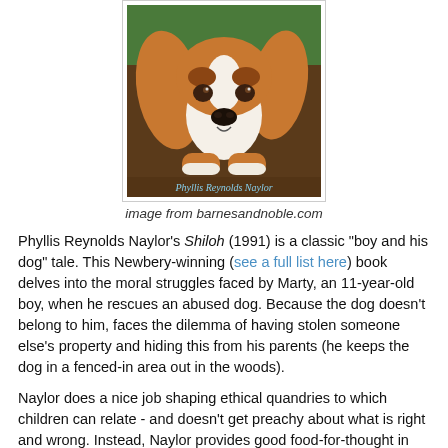[Figure (photo): Book cover of Shiloh by Phyllis Reynolds Naylor, showing a beagle puppy resting its chin on a surface, with the author name 'Phyllis Reynolds Naylor' printed at the bottom of the cover image.]
image from barnesandnoble.com
Phyllis Reynolds Naylor's Shiloh (1991) is a classic "boy and his dog" tale. This Newbery-winning (see a full list here) book delves into the moral struggles faced by Marty, an 11-year-old boy, when he rescues an abused dog. Because the dog doesn't belong to him, faces the dilemma of having stolen someone else's property and hiding this from his parents (he keeps the dog in a fenced-in area out in the woods).
Naylor does a nice job shaping ethical quandries to which children can relate - and doesn't get preachy about what is right and wrong. Instead, Naylor provides good food-for-thought in contemplating just what are the right courses of action when faced with not-so-easy choices.